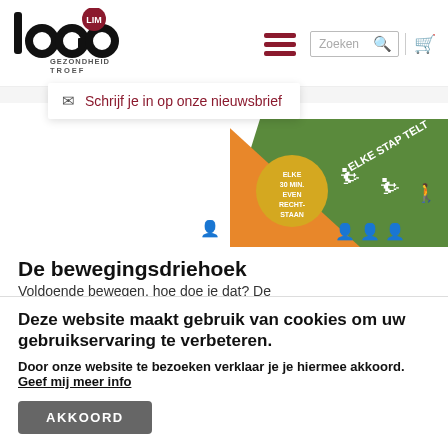[Figure (logo): Logo Lim - Gezondheid Troef with black circular shapes and red LIM badge]
[Figure (screenshot): Hamburger menu icon (three dark red horizontal bars), search input field with 'Zoeken' placeholder, search icon, and shopping cart icon]
Schrijf je in op onze nieuwsbrief
[Figure (infographic): De bewegingsdriehoek - colorful triangle infographic with movement icons, orange and green sections, text 'ELKE STAP TELT', 'ELKE 30 MIN. EVEN RECHTSTAAN']
De bewegingsdriehoek
Voldoende bewegen, hoe doe je dat? De
Deze website maakt gebruik van cookies om uw gebruikservaring te verbeteren.
Door onze website te bezoeken verklaar je je hiermee akkoord. Geef mij meer info
AKKOORD